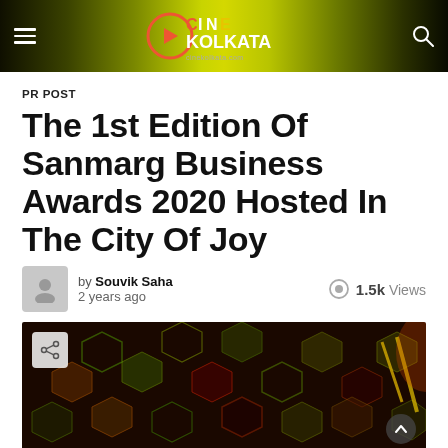Cine Kolkata
PR POST
The 1st Edition Of Sanmarg Business Awards 2020 Hosted In The City Of Joy
by Souvik Saha · 2 years ago · 1.5k Views
[Figure (photo): Decorative glowing hexagonal pattern background image for the article]